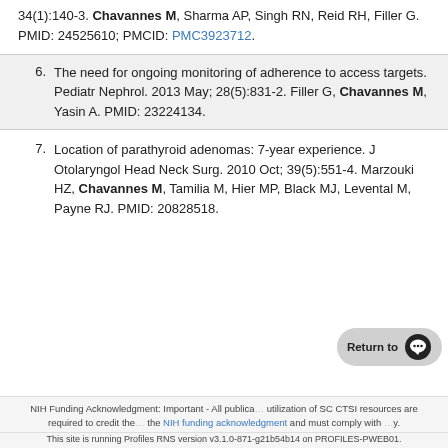34(1):140-3. Chavannes M, Sharma AP, Singh RN, Reid RH, Filler G. PMID: 24525610; PMCID: PMC3923712.
6. The need for ongoing monitoring of adherence to access targets. Pediatr Nephrol. 2013 May; 28(5):831-2. Filler G, Chavannes M, Yasin A. PMID: 23224134.
7. Location of parathyroid adenomas: 7-year experience. J Otolaryngol Head Neck Surg. 2010 Oct; 39(5):551-4. Marzouki HZ, Chavannes M, Tamilia M, Hier MP, Black MJ, Levental M, Payne RJ. PMID: 20828518.
NIH Funding Acknowledgment: Important - All publications resulting from utilization of SC CTSI resources are required to credit the NIH funding acknowledgment and must comply with [policy]. This site is running Profiles RNS version v3.1.0-871-g21b54b14 on PROFILES-PWEB01.